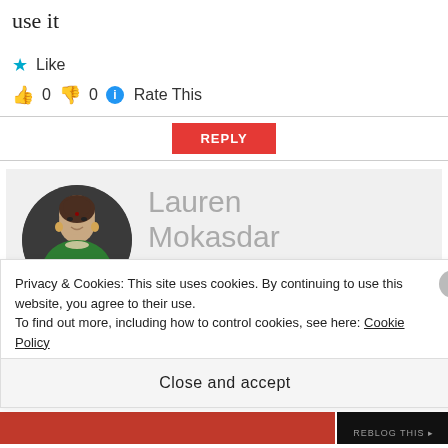use it
★ Like
👍 0  👎 0  ℹ Rate This
REPLY
[Figure (photo): Circular profile photo of Lauren Mokasdar, a woman wearing a green outfit with pearl necklace, dark background]
Lauren Mokasdar
FEBRUARY 9, 2015 AT 19:02
Privacy & Cookies: This site uses cookies. By continuing to use this website, you agree to their use.
To find out more, including how to control cookies, see here: Cookie Policy
Close and accept